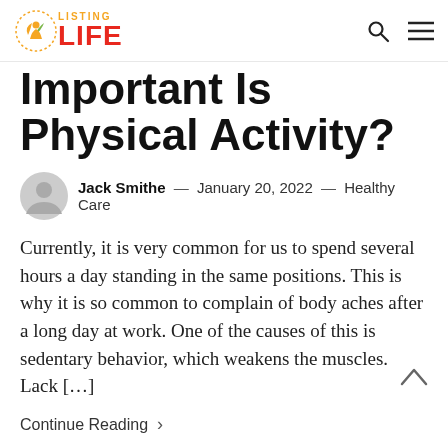Listing Life — navigation bar with logo, search and menu icons
Important Is Physical Activity?
Jack Smithe — January 20, 2022 — Healthy Care
Currently, it is very common for us to spend several hours a day standing in the same positions. This is why it is so common to complain of body aches after a long day at work. One of the causes of this is sedentary behavior, which weakens the muscles. Lack […]
Continue Reading >